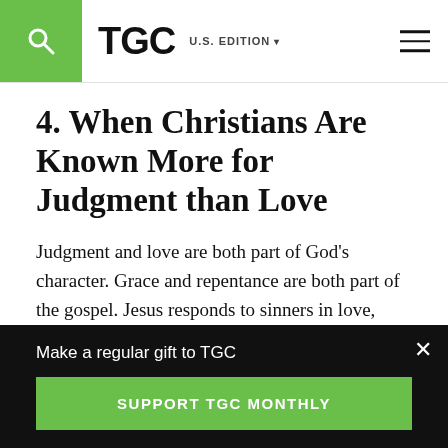TGC U.S. EDITION
4. When Christians Are Known More for Judgment than Love
Judgment and love are both part of God's character. Grace and repentance are both part of the gospel. Jesus responds to sinners in love, while also commanding us to “go and sin no more” (John 8:11). But today, many
Make a regular gift to TGC
SUPPORT TGC MONTHLY